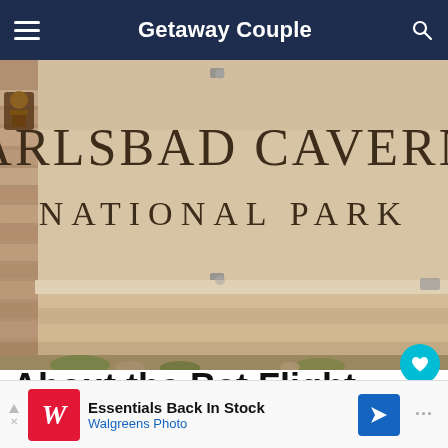Getaway Couple
[Figure (photo): Carlsbad Caverns National Park entrance sign on a stone wall with desert landscaping]
About the Bat Flight Program At Carlsbad
[Figure (other): Advertisement banner: Walgreens Photo - Essentials Back In Stock]